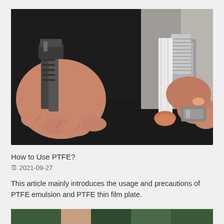[Figure (photo): Close-up photo of hands wrapping white PTFE tape around metal pipe threads, with pliers visible in the background]
How to Use PTFE?
🗓 2021-09-27
This article mainly introduces the usage and precautions of PTFE emulsion and PTFE thin film plate.
[Figure (photo): Partial view of another image at the bottom of the page]